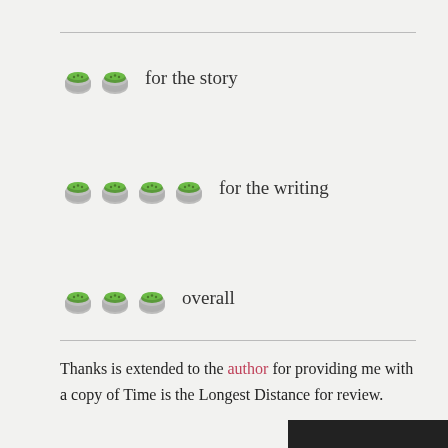🍅🍅 for the story
🍅🍅🍅🍅 for the writing
🍅🍅🍅 overall
Thanks is extended to the author for providing me with a copy of Time is the Longest Distance for review.
About the Author: